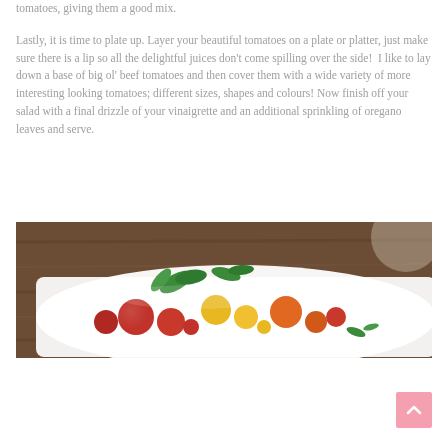tomatoes, giving them a good mix.

Lastly, it is time to plate up. Layer your beautiful tomatoes on a plate or platter, just make sure there is a lip so all the delightful juices don't come spilling over the side!  I like to lay down a base of big ol' beef tomatoes and then cover them with a wide variety of more interesting looking tomatoes; different sizes, shapes and colours! Now finish off your salad with a final drizzle of your vinaigrette and an additional sprinkling of oregano leaves and serve.
[Figure (photo): A white plate or platter with colorful tomatoes (red, yellow, orange) and green herb leaves, placed on a wooden table background. The plate is partially visible from an angled overhead view.]